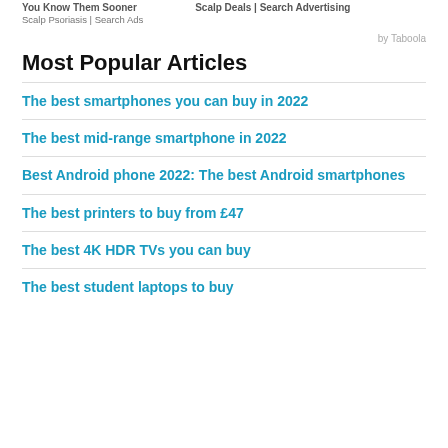You Know Them Sooner | Scalp Psoriasis | Search Ads | Search Advertising
by Taboola
Most Popular Articles
The best smartphones you can buy in 2022
The best mid-range smartphone in 2022
Best Android phone 2022: The best Android smartphones
The best printers to buy from £47
The best 4K HDR TVs you can buy
The best student laptops to buy